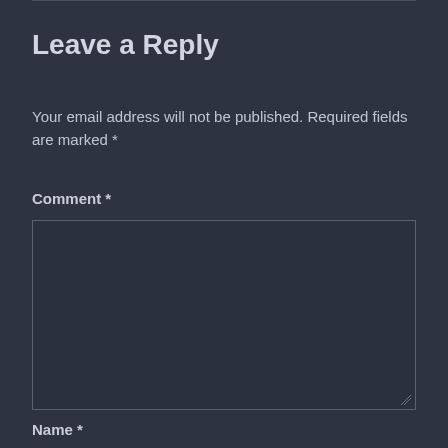Leave a Reply
Your email address will not be published. Required fields are marked *
Comment *
[Figure (other): Empty comment textarea input box with dark background and border]
Name *